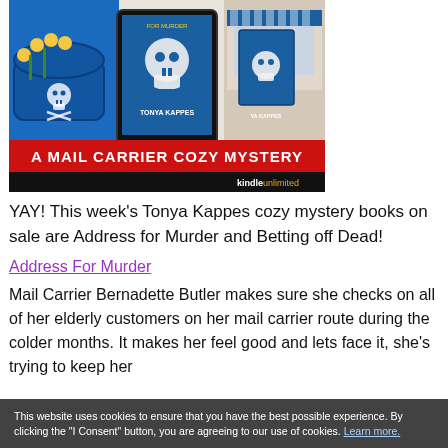[Figure (illustration): Book cover advertisement for 'A Mail Carrier Cozy Mystery' by Tonya Kappes. Shows a blue mailbox with yellow flowers, tablet e-reader displaying a skull-and-crossbones themed book cover, with red banner reading 'A MAIL CARRIER COZY MYSTERY' and Kindle Unlimited branding.]
YAY! This week's Tonya Kappes cozy mystery books on sale are Address for Murder and Betting off Dead!
Address For Murder
Mail Carrier Bernadette Butler makes sure she checks on all of her elderly customers on her mail carrier route during the colder months. It makes her feel good and lets face it, she's trying to keep her
This website uses cookies to ensure that you have the best possible experience. By clicking the "I Consent" button, you are agreeing to our use of cookies. Learn more.